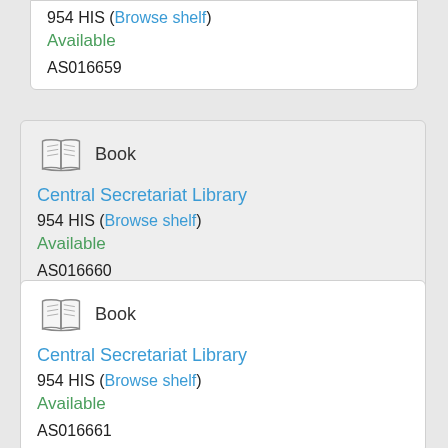954 HIS (Browse shelf)
Available
AS016659
Book
Central Secretariat Library
954 HIS (Browse shelf)
Available
AS016660
Book
Central Secretariat Library
954 HIS (Browse shelf)
Available
AS016661